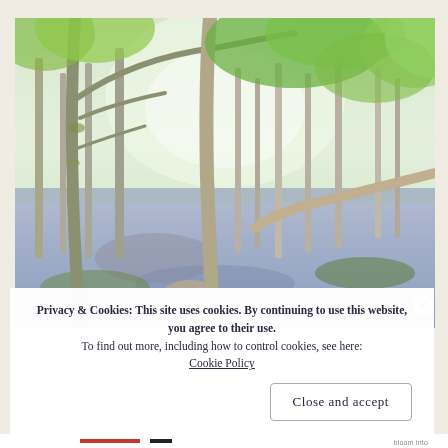[Figure (photo): A woodland scene with bluebells covering the forest floor and trees with fresh spring green leaves, light filtering through the canopy.]
Privacy & Cookies: This site uses cookies. By continuing to use this website, you agree to their use.
To find out more, including how to control cookies, see here: Cookie Policy
Close and accept